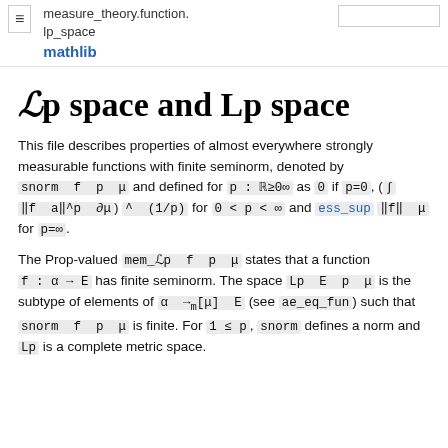≡  measure_theory.function.lp_space  [search box]  mathlib
ℒp space and Lp space
This file describes properties of almost everywhere strongly measurable functions with finite seminorm, denoted by snorm f p μ and defined for p : ℝ≥0∞ as 0 if p=0, (∫ ‖f a‖^p ∂μ) ^ (1/p) for 0 < p < ∞ and ess_sup ‖f‖ μ for p=∞.
The Prop-valued mem_ℒp f p μ states that a function f : α → E has finite seminorm. The space Lp E p μ is the subtype of elements of α →ₘ[μ] E (see ae_eq_fun) such that snorm f p μ is finite. For 1 ≤ p, snorm defines a norm and Lp is a complete metric space.